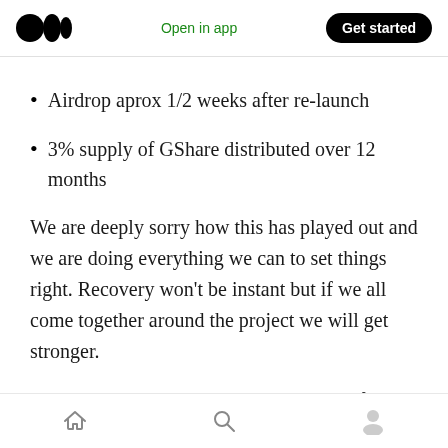Medium logo | Open in app | Get started
Airdrop aprox 1/2 weeks after re-launch
3% supply of GShare distributed over 12 months
We are deeply sorry how this has played out and we are doing everything we can to set things right. Recovery won't be instant but if we all come together around the project we will get stronger.
Please note that BISON, the core token of BiSh...
Home | Search | Profile